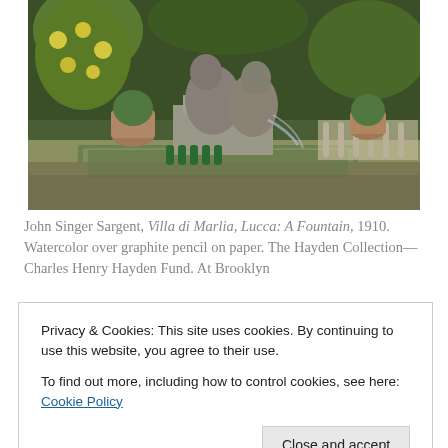[Figure (illustration): Watercolor painting by John Singer Sargent showing a garden fountain scene with potted plants, stone fountain figures, and lush greenery. Villa di Marlia, Lucca: A Fountain, 1910.]
John Singer Sargent, Villa di Marlia, Lucca: A Fountain, 1910. Watercolor over graphite pencil on paper. The Hayden Collection—Charles Henry Hayden Fund. At Brooklyn
Privacy & Cookies: This site uses cookies. By continuing to use this website, you agree to their use.
To find out more, including how to control cookies, see here: Cookie Policy
[Figure (photo): Partial view of another artwork or photograph at the bottom of the page, partially obscured by the cookie banner.]